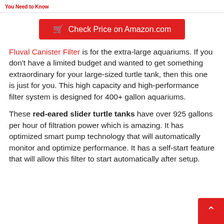You Need to Know
[Figure (other): Red 'Check Price on Amazon.com' button with shopping cart icon]
Fluval Canister Filter is for the extra-large aquariums. If you don't have a limited budget and wanted to get something extraordinary for your large-sized turtle tank, then this one is just for you. This high capacity and high-performance filter system is designed for 400+ gallon aquariums.
These red-eared slider turtle tanks have over 925 gallons per hour of filtration power which is amazing. It has optimized smart pump technology that will automatically monitor and optimize performance. It has a self-start feature that will allow this filter to start automatically after setup.